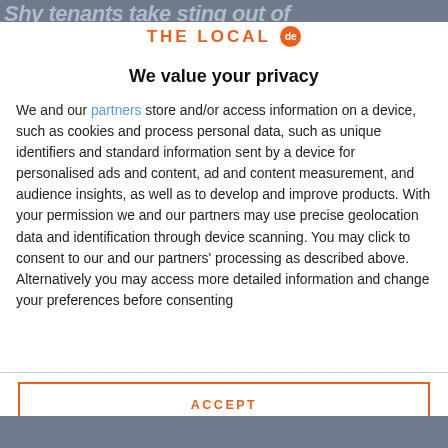Shy tenants take sting out of
[Figure (logo): THE LOCAL de logo — orange text with orange circular badge showing 'de']
We value your privacy
We and our partners store and/or access information on a device, such as cookies and process personal data, such as unique identifiers and standard information sent by a device for personalised ads and content, ad and content measurement, and audience insights, as well as to develop and improve products. With your permission we and our partners may use precise geolocation data and identification through device scanning. You may click to consent to our and our partners' processing as described above. Alternatively you may access more detailed information and change your preferences before consenting
ACCEPT
MORE OPTIONS